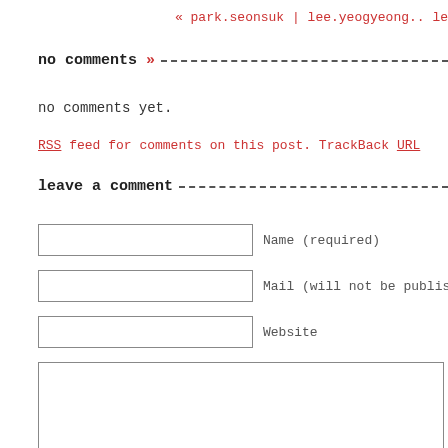« park.seonsuk | lee.yeogyeong.. le
no comments »
no comments yet.
RSS feed for comments on this post. TrackBack URL
leave a comment
[Figure (other): Comment form with Name (required), Mail (will not be published) (re...), Website text fields, a large textarea, and a Submit Comment button]